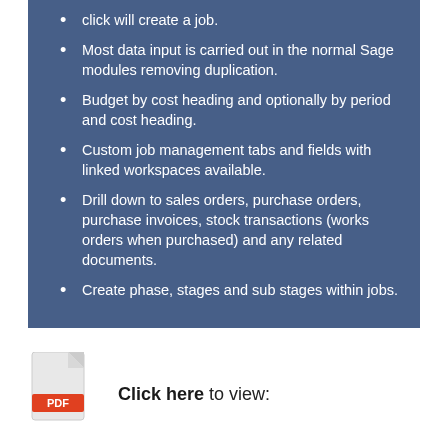click will create a job.
Most data input is carried out in the normal Sage modules removing duplication.
Budget by cost heading and optionally by period and cost heading.
Custom job management tabs and fields with linked workspaces available.
Drill down to sales orders, purchase orders, purchase invoices, stock transactions (works orders when purchased) and any related documents.
Create phase, stages and sub stages within jobs.
Click here to view: